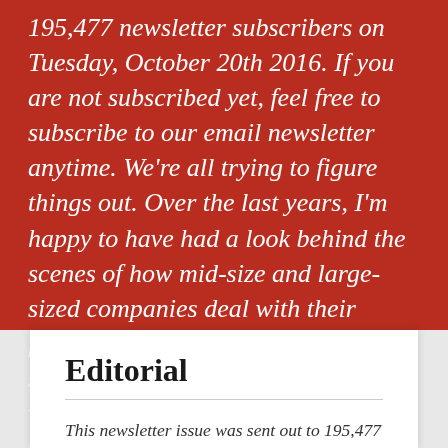195,477 newsletter subscribers on Tuesday, October 20th 2016. If you are not subscribed yet, feel free to subscribe to our email newsletter anytime. We're all trying to figure things out. Over the last years, I'm happy to have had a look behind the scenes of how mid-size and large-sized companies deal with their front-end and UX problems. It's surprising that since problems are very similar, solutions are often very similar as well.
Editorial
This newsletter issue was sent out to 195,477